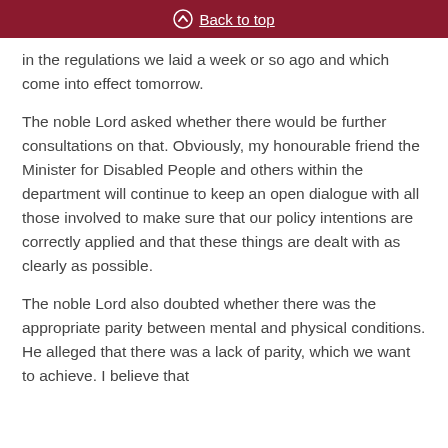Back to top
in the regulations we laid a week or so ago and which come into effect tomorrow.
The noble Lord asked whether there would be further consultations on that. Obviously, my honourable friend the Minister for Disabled People and others within the department will continue to keep an open dialogue with all those involved to make sure that our policy intentions are correctly applied and that these things are dealt with as clearly as possible.
The noble Lord also doubted whether there was the appropriate parity between mental and physical conditions. He alleged that there was a lack of parity, which we want to achieve. I believe that